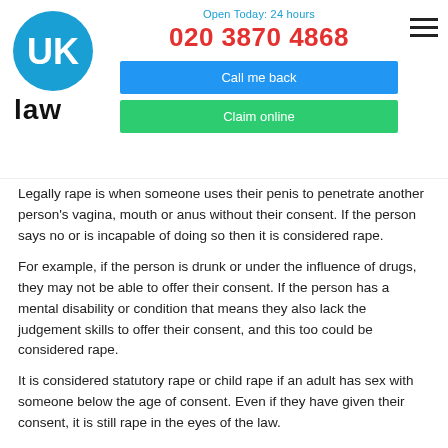[Figure (logo): UK Law logo — blue oval with white UK letters and black 'law' text below]
Open Today: 24 hours
020 3870 4868
Call me back
Claim online
Legally rape is when someone uses their penis to penetrate another person's vagina, mouth or anus without their consent. If the person says no or is incapable of doing so then it is considered rape.
For example, if the person is drunk or under the influence of drugs, they may not be able to offer their consent. If the person has a mental disability or condition that means they also lack the judgement skills to offer their consent, and this too could be considered rape.
It is considered statutory rape or child rape if an adult has sex with someone below the age of consent. Even if they have given their consent, it is still rape in the eyes of the law.
Sexual Exploitation By An Ex Partner